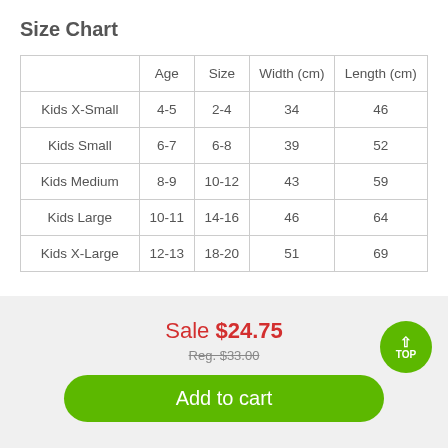Size Chart
|  | Age | Size | Width (cm) | Length (cm) |
| --- | --- | --- | --- | --- |
| Kids X-Small | 4-5 | 2-4 | 34 | 46 |
| Kids Small | 6-7 | 6-8 | 39 | 52 |
| Kids Medium | 8-9 | 10-12 | 43 | 59 |
| Kids Large | 10-11 | 14-16 | 46 | 64 |
| Kids X-Large | 12-13 | 18-20 | 51 | 69 |
Sale $24.75
Reg. $33.00
Add to cart